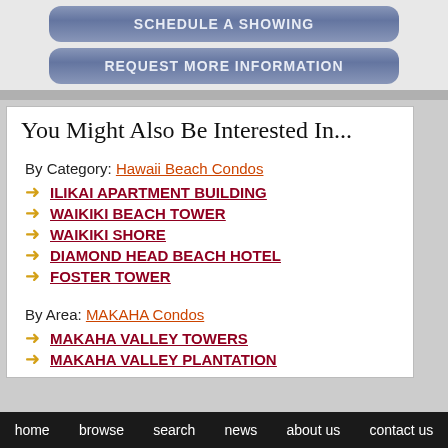SCHEDULE A SHOWING
REQUEST MORE INFORMATION
You Might Also Be Interested In...
By Category: Hawaii Beach Condos
ILIKAI APARTMENT BUILDING
WAIKIKI BEACH TOWER
WAIKIKI SHORE
DIAMOND HEAD BEACH HOTEL
FOSTER TOWER
By Area: MAKAHA Condos
MAKAHA VALLEY TOWERS
MAKAHA VALLEY PLANTATION
home   browse   search   news   about us   contact us